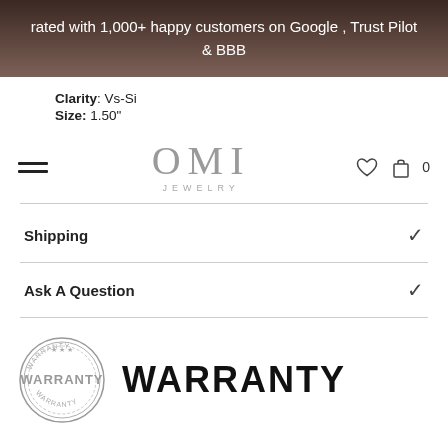rated with 1,000+ happy customers on Google , Trust Pilot & BBB
Clarity: Vs-Si
Size: 1.50"
[Figure (logo): OMI JEWELRY logo with hamburger menu, heart icon, shopping bag icon and cart count 0]
Shipping
Ask A Question
[Figure (illustration): Circular warranty stamp/seal graphic in grey]
WARRANTY